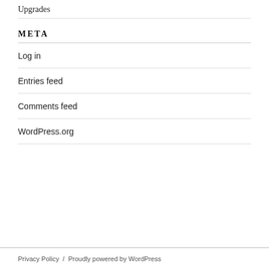Upgrades
META
Log in
Entries feed
Comments feed
WordPress.org
Privacy Policy / Proudly powered by WordPress